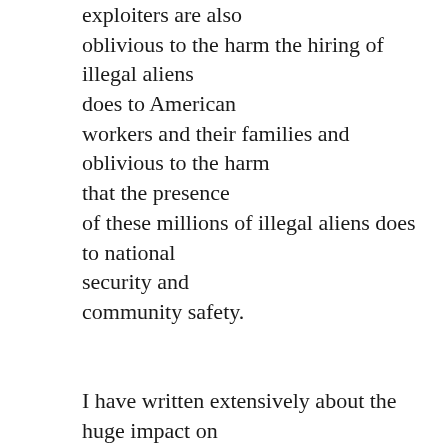exploiters are also oblivious to the harm the hiring of illegal aliens does to American workers and their families and oblivious to the harm that the presence of these millions of illegal aliens does to national security and community safety.

I have written extensively about the huge impact on national security, community safety and criminal justice that our extremely porous borders and failures to enforce our immigration laws from within